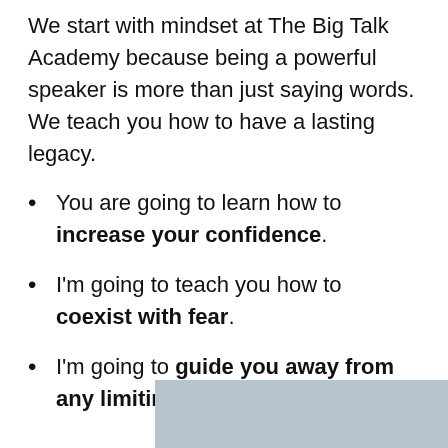We start with mindset at The Big Talk Academy because being a powerful speaker is more than just saying words. We teach you how to have a lasting legacy.
You are going to learn how to increase your confidence.
I'm going to teach you how to coexist with fear.
I'm going to guide you away from any limiting beliefs.
[Figure (other): Gray rectangle at the bottom right of the page, partially visible]